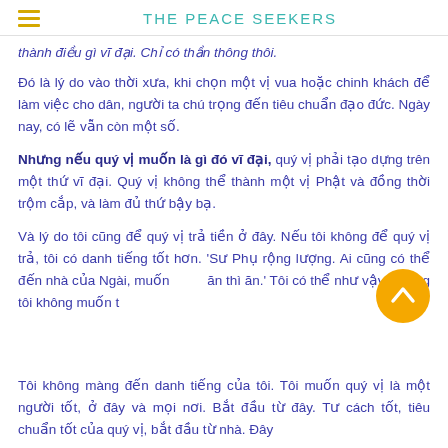THE PEACE SEEKERS
thành điều gì vĩ đại. Chi có thân thông thôi.
Đó là lý do vào thời xưa, khi chọn một vị vua hoặc chinh khách để làm việc cho dân, người ta chú trọng đến tiêu chuẩn đạo đức. Ngày nay, có lẽ vẫn còn một số.
Nhưng nếu quý vị muốn là gì đó vĩ đại, quý vị phải tạo dựng trên một thứ vĩ đại. Quý vị không thể thành một vị Phật và đồng thời trộm cắp, và làm đủ thứ bậy bạ.
Và lý do tôi cũng để quý vị trả tiền ở đây. Nếu tôi không để quý vị trả, tôi có danh tiếng tốt hơn. 'Sư Phụ rộng lượng. Ai cũng có thể đến nhà của Ngài, muốn ăn thì ăn.' Tôi có thể như vậy, nhưng tôi không muốn t
Tôi không màng đến danh tiếng của tôi. Tôi muốn quý vị là một người tốt, ở đây và mọi nơi. Bắt đầu từ đây. Tư cách tốt, tiêu chuẩn tốt của quý vị, bắt đầu từ nhà. Đây